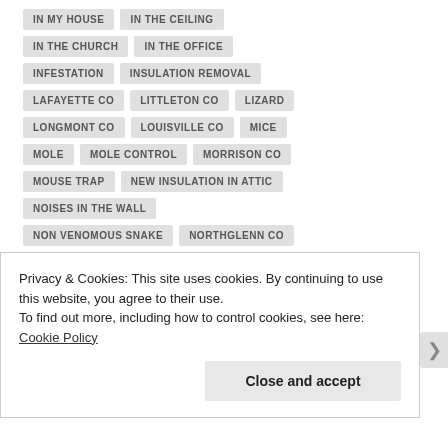IN MY HOUSE
IN THE CEILING
IN THE CHURCH
IN THE OFFICE
INFESTATION
INSULATION REMOVAL
LAFAYETTE CO
LITTLETON CO
LIZARD
LONGMONT CO
LOUISVILLE CO
MICE
MOLE
MOLE CONTROL
MORRISON CO
MOUSE TRAP
NEW INSULATION IN ATTIC
NOISES IN THE WALL
NON VENOMOUS SNAKE
NORTHGLENN CO
ON THE DECK
ONE WAY BAT DOOR
PARKER CO
PEST
PEST CONTROL
Privacy & Cookies: This site uses cookies. By continuing to use this website, you agree to their use.
To find out more, including how to control cookies, see here: Cookie Policy
Close and accept